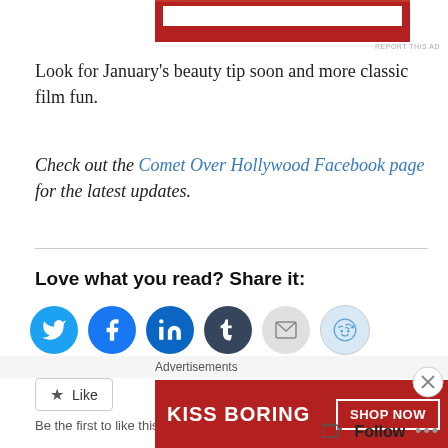[Figure (other): Red advertisement banner at top of page]
REPORT THIS AD
Look for January's beauty tip soon and more classic film fun.
Check out the Comet Over Hollywood Facebook page for the latest updates.
Love what you read? Share it:
[Figure (other): Social sharing icons: Twitter, Facebook, LinkedIn, Tumblr, Email, Reddit]
[Figure (other): Like button widget]
Be the first to like this.
Advertisements
[Figure (other): Bottom advertisement banner: KISS BORING with SHOP NOW button]